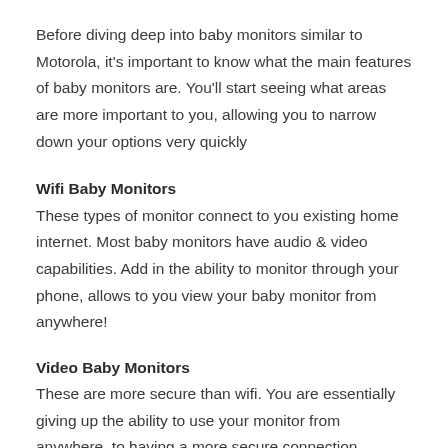Before diving deep into baby monitors similar to Motorola, it's important to know what the main features of baby monitors are. You'll start seeing what areas are more important to you, allowing you to narrow down your options very quickly
Wifi Baby Monitors
These types of monitor connect to you existing home internet. Most baby monitors have audio & video capabilities. Add in the ability to monitor through your phone, allows to you view your baby monitor from anywhere!
Video Baby Monitors
These are more secure than wifi. You are essentially giving up the ability to use your monitor from anywhere, to having a more secure connection